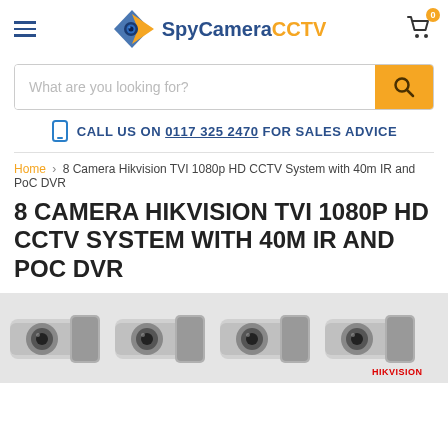SpyCameraCCTV
What are you looking for?
CALL US ON 0117 325 2470 FOR SALES ADVICE
Home > 8 Camera Hikvision TVI 1080p HD CCTV System with 40m IR and PoC DVR
8 CAMERA HIKVISION TVI 1080P HD CCTV SYSTEM WITH 40M IR AND POC DVR
[Figure (photo): Row of four Hikvision bullet security cameras viewed from front-right angle against white background, with HIKVISION branding visible on the right side]